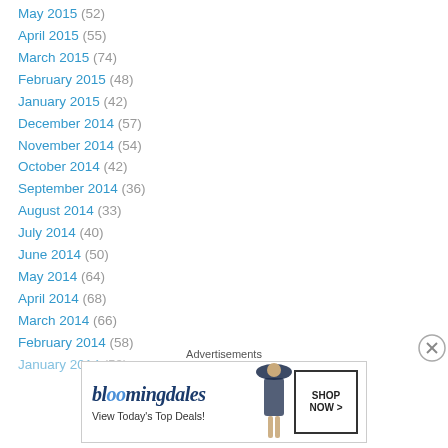May 2015 (52)
April 2015 (55)
March 2015 (74)
February 2015 (48)
January 2015 (42)
December 2014 (57)
November 2014 (54)
October 2014 (42)
September 2014 (36)
August 2014 (33)
July 2014 (40)
June 2014 (50)
May 2014 (64)
April 2014 (68)
March 2014 (66)
February 2014 (58)
January 2014 (59)
Advertisements
[Figure (illustration): Bloomingdale's advertisement banner with logo, 'View Today's Top Deals!' text, woman in hat image, and 'SHOP NOW >' button]